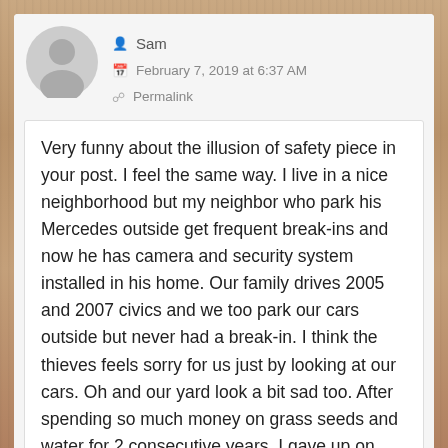[Figure (illustration): Grey circular avatar placeholder with silhouette of a person]
Sam
February 7, 2019 at 6:37 AM
Permalink
Very funny about the illusion of safety piece in your post. I feel the same way. I live in a nice neighborhood but my neighbor who park his Mercedes outside get frequent break-ins and now he has camera and security system installed in his home. Our family drives 2005 and 2007 civics and we too park our cars outside but never had a break-in. I think the thieves feels sorry for us just by looking at our cars. Oh and our yard look a bit sad too. After spending so much money on grass seeds and water for 2 consecutive years, I gave up on wanting the perfect yard. Lol.